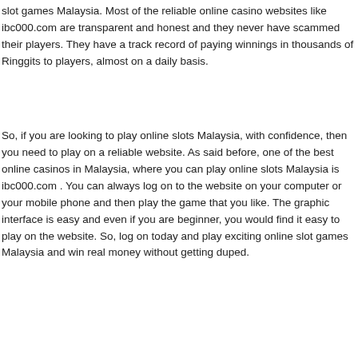slot games Malaysia. Most of the reliable online casino websites like ibc000.com are transparent and honest and they never have scammed their players. They have a track record of paying winnings in thousands of Ringgits to players, almost on a daily basis.
So, if you are looking to play online slots Malaysia, with confidence, then you need to play on a reliable website. As said before, one of the best online casinos in Malaysia, where you can play online slots Malaysia is ibc000.com . You can always log on to the website on your computer or your mobile phone and then play the game that you like. The graphic interface is easy and even if you are beginner, you would find it easy to play on the website. So, log on today and play exciting online slot games Malaysia and win real money without getting duped.